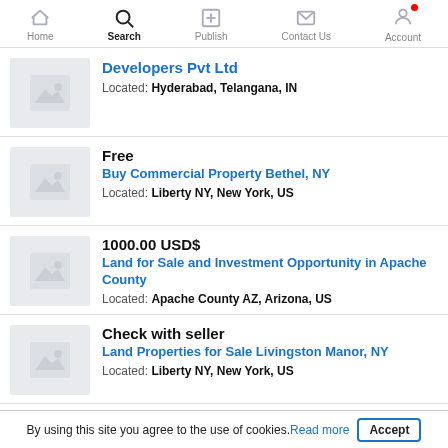Home | Search | Publish | Contact Us | Account
Developers Pvt Ltd — Located: Hyderabad, Telangana, IN
Free — Buy Commercial Property Bethel, NY — Located: Liberty NY, New York, US
1000.00 USD$ — Land for Sale and Investment Opportunity in Apache County — Located: Apache County AZ, Arizona, US
Check with seller — Land Properties for Sale Livingston Manor, NY — Located: Liberty NY, New York, US
By using this site you agree to the use of cookies. Read more | Accept